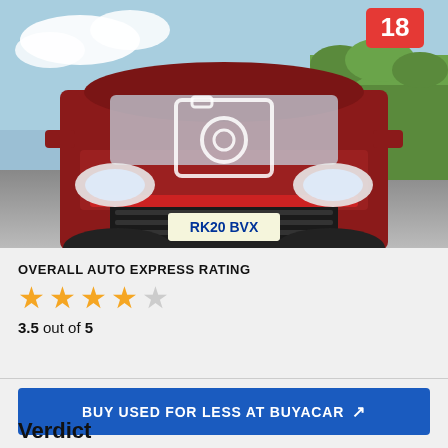[Figure (photo): Red SUV (SsangYong/similar) driving on road toward camera, license plate RK20 BVX, with a camera/photo gallery icon overlay and a red badge showing '18' in top right corner.]
OVERALL AUTO EXPRESS RATING
3.5 out of 5 (star rating: 3.5 stars out of 5)
BUY USED FOR LESS AT BUYACAR ↗
Verdict